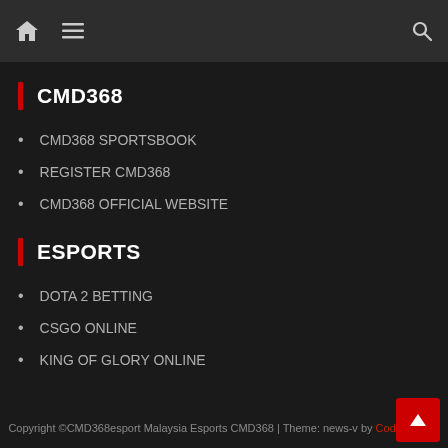CMD368esport — navigation bar with home, menu, and search icons
CMD368
CMD368 SPORTSBOOK
REGISTER CMD368
CMD368 OFFICIAL WEBSITE
ESPORTS
DOTA 2 BETTING
CSGO ONLINE
KING OF GLORY ONLINE
Copyright ©CMD368esport Malaysia Esports CMD368 | Theme: news-v… by CodeVibrant.